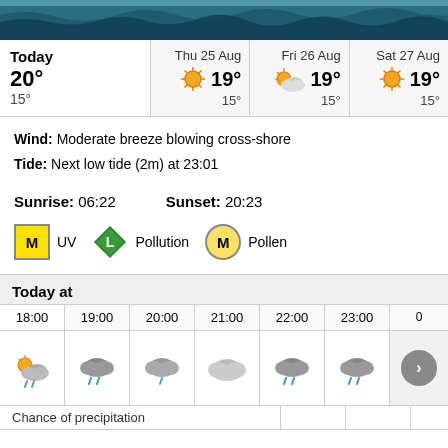[Figure (photo): Header photo of ocean/sea waves with blue-green water]
| Today | Thu 25 Aug | Fri 26 Aug | Sat 27 Aug |
| --- | --- | --- | --- |
| 20° / 15° | 19° / 15° | 19° / 15° | 19° / 15° |
Wind: Moderate breeze blowing cross-shore
Tide: Next low tide (2m) at 23:01
Sunrise: 06:22   Sunset: 20:23
M UV   L Pollution   M Pollen
Today at
| 18:00 | 19:00 | 20:00 | 21:00 | 22:00 | 23:00 | 0 |
| --- | --- | --- | --- | --- | --- | --- |
| [cloud-sun+rain] | [cloud+rain] | [cloud+rain] | [cloud] | [cloud+rain] | [cloud+rain] |  |
Chance of precipitation